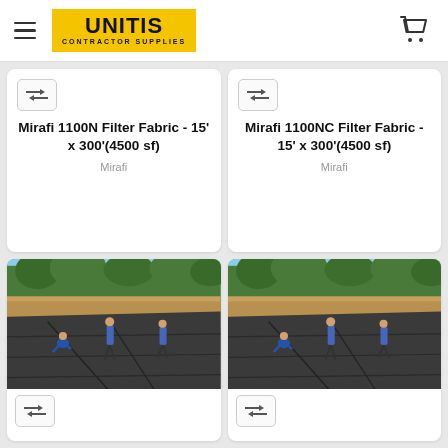UNITIS CONTRACTOR SUPPLIES
Mirafi 1100N Filter Fabric - 15' x 300'(4500 sf)
Mirafi
Mirafi 1100NC Filter Fabric - 15' x 300'(4500 sf)
Mirafi
[Figure (photo): Workers laying large dark geotextile filter fabric on a sloped earthen embankment near a body of water, with trees visible in the background]
[Figure (photo): Workers laying large dark geotextile filter fabric on a sloped earthen embankment near a body of water, with trees visible in the background]